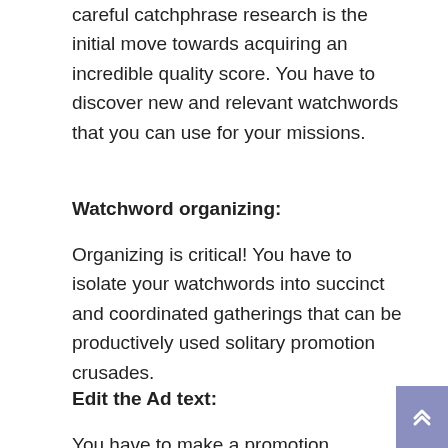careful catchphrase research is the initial move towards acquiring an incredible quality score. You have to discover new and relevant watchwords that you can use for your missions.
Watchword organizing:
Organizing is critical! You have to isolate your watchwords into succinct and coordinated gatherings that can be productively used solitary promotion crusades.
Edit the Ad text:
You have to make a promotion duplicate that draws in the crowd that you are focusing on and for that, you have to edit your advertisement text. A promotion